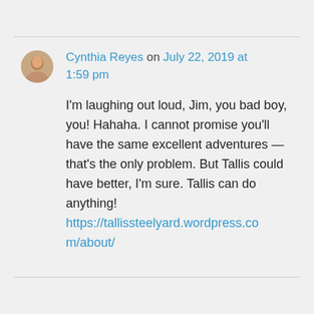Cynthia Reyes on July 22, 2019 at 1:59 pm
I'm laughing out loud, Jim, you bad boy, you! Hahaha. I cannot promise you'll have the same excellent adventures — that's the only problem. But Tallis could have better, I'm sure. Tallis can do anything! https://tallissteelyard.wordpress.com/about/